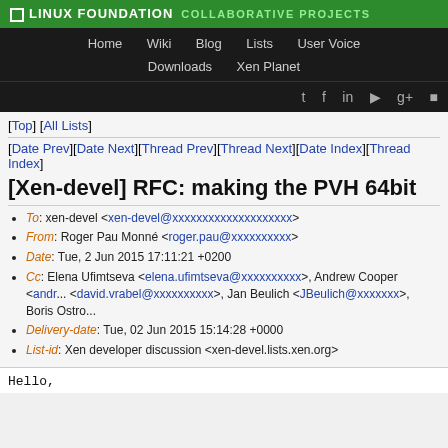LINUX FOUNDATION COLLABORATIVE PROJECTS
Home | Wiki | Blog | Lists | User Voice | Downloads | Xen Planet
[Top] [All Lists]
[Date Prev][Date Next][Thread Prev][Thread Next][Date Index][Thread Index]
[Xen-devel] RFC: making the PVH 64bit
To: xen-devel <xen-devel@xxxxxxxxxxxxxxxxxxxx>
From: Roger Pau Monné <roger.pau@xxxxxxxxxx>
Date: Tue, 2 Jun 2015 17:11:21 +0200
Cc: Elena Ufimtseva <elena.ufimtseva@xxxxxxxxxx>, Andrew Cooper <andr... <david.vrabel@xxxxxxxxxx>, Jan Beulich <JBeulich@xxxxxxx>, Boris Ostro...
Delivery-date: Tue, 02 Jun 2015 15:14:28 +0000
List-id: Xen developer discussion <xen-devel.lists.xen.org>
Hello,